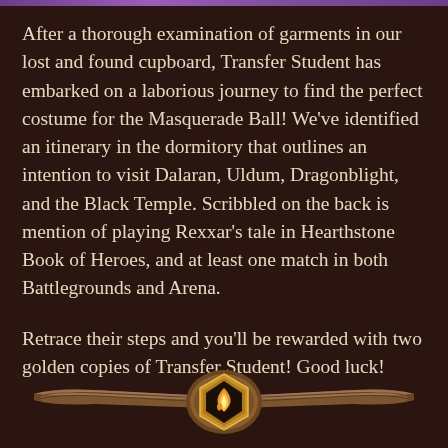After a thorough examination of garments in our lost and found cupboard, Transfer Student has embarked on a laborious journey to find the perfect costume for the Masquerade Ball! We've identified an itinerary in the dormitory that outlines an intention to visit Dalaran, Uldum, Dragonblight, and the Black Temple. Scribbled on the back is mention of playing Rexxar's tale in Hearthstone Book of Heroes, and at least one match in both Battlegrounds and Arena.
Retrace their steps and you'll be rewarded with two golden copies of Transfer Student! Good luck!
[Figure (illustration): Decorative wooden banner/divider with a central golden emblem (Hearthstone logo) flanked by curved wooden planks, brown and gold tones]